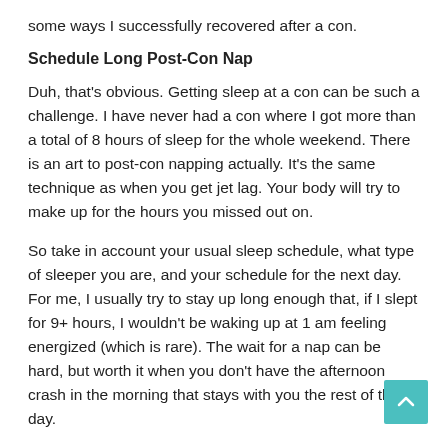some ways I successfully recovered after a con.
Schedule Long Post-Con Nap
Duh, that's obvious. Getting sleep at a con can be such a challenge. I have never had a con where I got more than a total of 8 hours of sleep for the whole weekend. There is an art to post-con napping actually. It's the same technique as when you get jet lag. Your body will try to make up for the hours you missed out on.
So take in account your usual sleep schedule, what type of sleeper you are, and your schedule for the next day. For me, I usually try to stay up long enough that, if I slept for 9+ hours, I wouldn't be waking up at 1 am feeling energized (which is rare). The wait for a nap can be hard, but worth it when you don't have the afternoon crash in the morning that stays with you the rest of the day.
Hydrate and Vitamins!